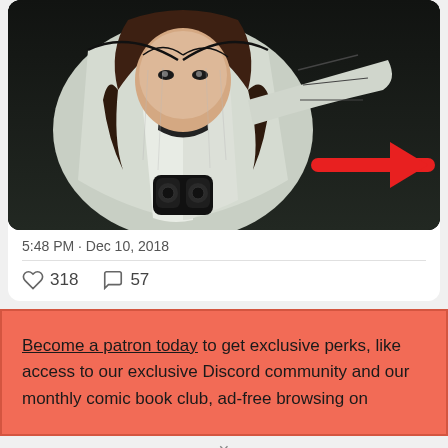[Figure (illustration): Comic book style illustration of a female character in a white jacket, with a large red arrow pointing to the right side of the image. Dark background with action-oriented artwork.]
5:48 PM · Dec 10, 2018
318 likes, 57 comments
Become a patron today to get exclusive perks, like access to our exclusive Discord community and our monthly comic book club, ad-free browsing on